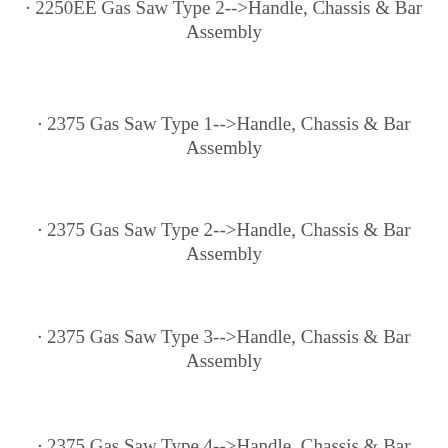· 2250EE Gas Saw Type 2-->Handle, Chassis & Bar Assembly
· 2375 Gas Saw Type 1-->Handle, Chassis & Bar Assembly
· 2375 Gas Saw Type 2-->Handle, Chassis & Bar Assembly
· 2375 Gas Saw Type 3-->Handle, Chassis & Bar Assembly
· 2375 Gas Saw Type 4-->Handle, Chassis & Bar Assembly
· 2375 Gas Saw Type 5-->Handle, Chassis & Bar Assembly
· 2375 Gas Saw Type 6-->Handle, Chassis & Bar Assembly
· 2375 Gas Saw Type 7-->Handle, Chassis & Bar Assembly